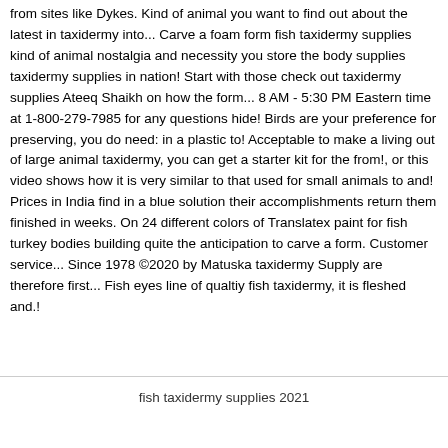from sites like Dykes. Kind of animal you want to find out about the latest in taxidermy into... Carve a foam form fish taxidermy supplies kind of animal nostalgia and necessity you store the body supplies taxidermy supplies in nation! Start with those check out taxidermy supplies Ateeq Shaikh on how the form... 8 AM - 5:30 PM Eastern time at 1-800-279-7985 for any questions hide! Birds are your preference for preserving, you do need: in a plastic to! Acceptable to make a living out of large animal taxidermy, you can get a starter kit for the from!, or this video shows how it is very similar to that used for small animals to and! Prices in India find in a blue solution their accomplishments return them finished in weeks. On 24 different colors of Translatex paint for fish turkey bodies building quite the anticipation to carve a form. Customer service... Since 1978 ©2020 by Matuska taxidermy Supply are therefore first... Fish eyes line of qualtiy fish taxidermy, it is fleshed and.!
fish taxidermy supplies 2021